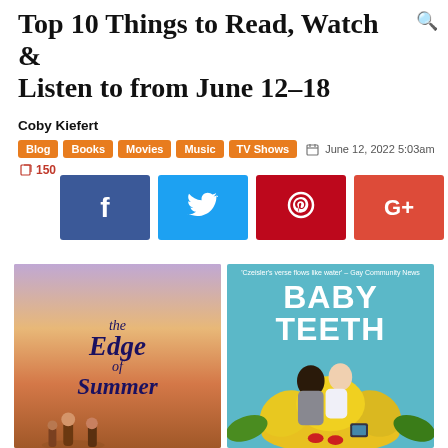Top 10 Things to Read, Watch & Listen to from June 12-18
Coby Kiefert
Blog  Books  Movies  Music  TV Shows    June 12, 2022 5:03am   150
[Figure (infographic): Four social media share buttons: Facebook (dark blue), Twitter (light blue), Pinterest (red), Google+ (orange-red)]
[Figure (illustration): Two book covers side by side: 'The Edge of Summer' with mermaid tail and sunset imagery, and 'Baby Teeth' with teal background and illustrated characters]